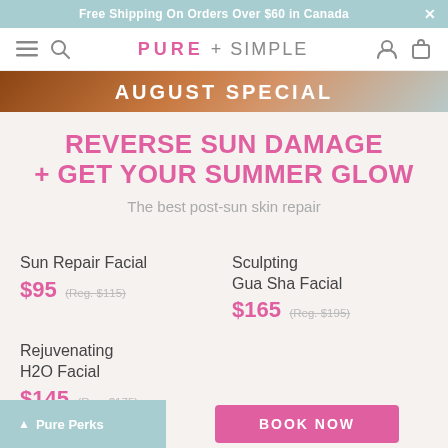Free Shipping On Orders Over $60 in Canada
[Figure (screenshot): Pure + Simple navigation bar with hamburger menu, search icon, logo, account and cart icons]
[Figure (photo): August Special banner with warm tones]
REVERSE SUN DAMAGE + GET YOUR SUMMER GLOW
The best post-sun skin repair
Sun Repair Facial $95 (Reg. $115)
Sculpting Gua Sha Facial $165 (Reg. $195)
Rejuvenating H2O Facial $145 (Reg. $175)
Pure Perks  BOOK NOW